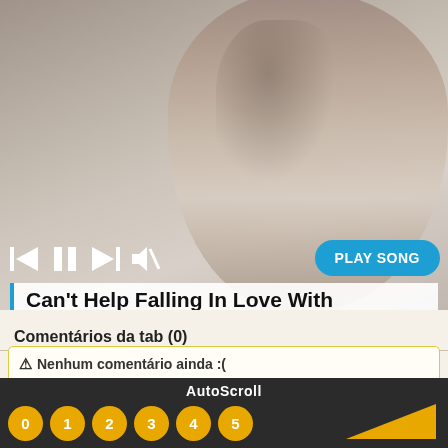[Figure (photo): Black and white photo of Elvis Presley with media playback controls overlay and a blue 'PLAY SONG' button]
Can't Help Falling In Love With
YouUke tab by Elvis Presley
Comentários da tab (0)
⚠ Nenhum comentário ainda :(
Precisa de ajuda, tem uma dica para compartilhar ou simplesmente quer falar sobre essa música? Inicie a discussão!
AutoScroll — buttons: 0 1 2 3 4 5